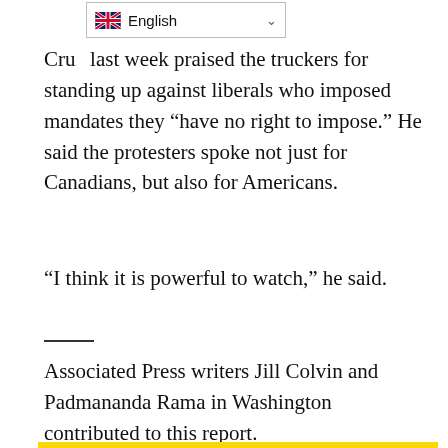[Figure (other): Language selector widget showing English with UK flag and dropdown arrow]
Cruz last week praised the truckers for standing up against liberals who imposed mandates they "have no right to impose." He said the protesters spoke not just for Canadians, but also for Americans.
“I think it is powerful to watch,” he said.
Associated Press writers Jill Colvin and Padmananda Rama in Washington contributed to this report.
Unlike many news organizations, Voice & Viewpoint delivers content that matters to you. Help us keep it that way by making a generous donation for as low as $2. Your